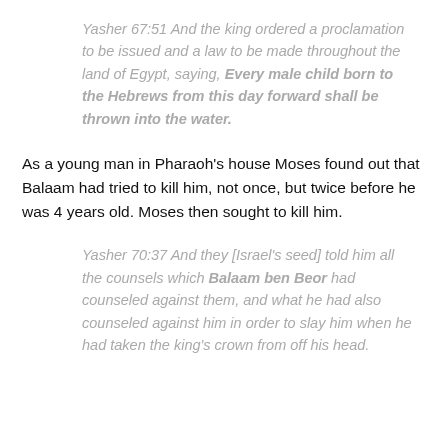Yasher 67:51 And the king ordered a proclamation to be issued and a law to be made throughout the land of Egypt, saying, Every male child born to the Hebrews from this day forward shall be thrown into the water.
As a young man in Pharaoh's house Moses found out that Balaam had tried to kill him, not once, but twice before he was 4 years old. Moses then sought to kill him.
Yasher 70:37 And they [Israel's seed] told him all the counsels which Balaam ben Beor had counseled against them, and what he had also counseled against him in order to slay him when he had taken the king's crown from off his head.